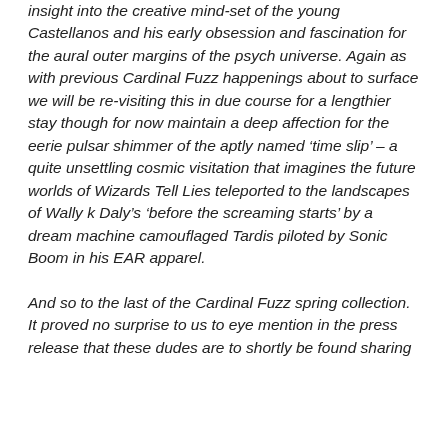insight into the creative mind-set of the young Castellanos and his early obsession and fascination for the aural outer margins of the psych universe. Again as with previous Cardinal Fuzz happenings about to surface we will be re-visiting this in due course for a lengthier stay though for now maintain a deep affection for the eerie pulsar shimmer of the aptly named ‘time slip’ – a quite unsettling cosmic visitation that imagines the future worlds of Wizards Tell Lies teleported to the landscapes of Wally k Daly’s ‘before the screaming starts’ by a dream machine camouflaged Tardis piloted by Sonic Boom in his EAR apparel.
And so to the last of the Cardinal Fuzz spring collection. It proved no surprise to us to eye mention in the press release that these dudes are to shortly be found sharing